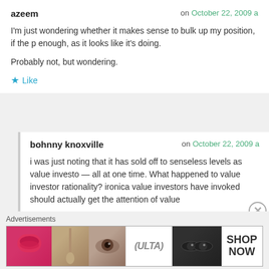azeem on October 22, 2009
I'm just wondering whether it makes sense to bulk up my position, if the price drops enough, as it looks like it's doing.
Probably not, but wondering.
Like
bohnny knoxville on October 22, 2009
i was just noting that it has sold off to senseless levels as value investors — all at one time. What happened to value investor rationality? ironically, the value investors have invoked should actually get the attention of value…
I have held my position, which has caused a mild pain in my kidney area. If I had the excess capacity in the portfolio, I would be loading up here.
Like
Advertisements